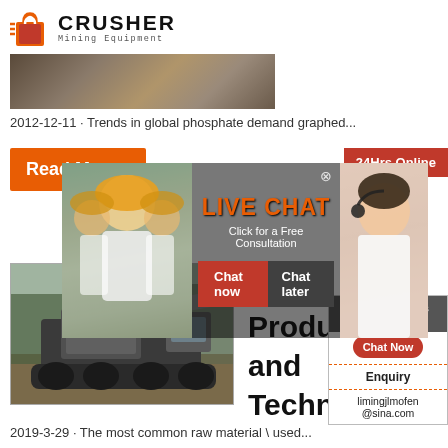[Figure (logo): Crusher Mining Equipment logo with shopping bag icon and bold text]
[Figure (photo): Partial industrial/warehouse scene photo at top]
2012-12-11 · Trends in global phosphate demand graphed...
Read More
[Figure (photo): Live Chat popup overlay with two people in hard hats and a customer service agent. Title: LIVE CHAT, subtitle: Click for a Free Consultation. Buttons: Chat now, Chat later. Badge: 24Hrs Online. Close X button.]
[Figure (photo): Mining crusher machine equipment in outdoor field]
Fertili
Produ
and
Techn
[Figure (infographic): Support widget: Need questions & suggestion? Chat Now button. Enquiry link. limingjlmofen@sina.com email.]
2019-3-29 · The most common raw material \ used...